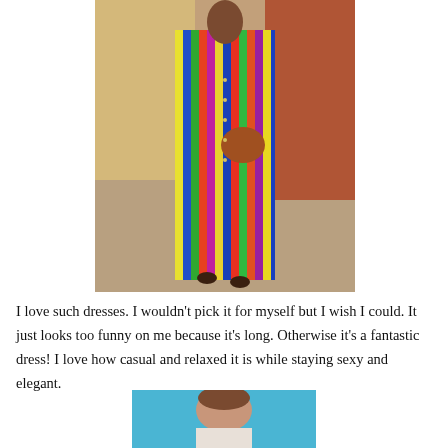[Figure (photo): A woman wearing a long multicolor striped maxi shirt dress with short sleeves and button front, carrying a brown leather saddle bag, standing on a cobblestone street with a terracotta wall in the background.]
I love such dresses. I wouldn't pick it for myself but I wish I could. It just looks too funny on me because it's long. Otherwise it's a fantastic dress! I love how casual and relaxed it is while staying sexy and elegant.
[Figure (photo): Partial view of a woman against a blue background, cropped at bottom of page.]